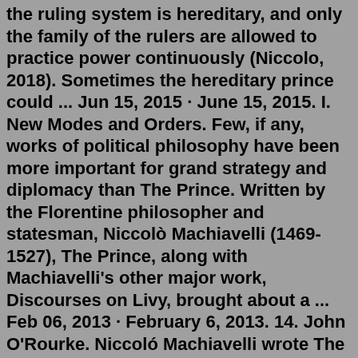the ruling system is hereditary, and only the family of the rulers are allowed to practice power continuously (Niccolo, 2018). Sometimes the hereditary prince could ... Jun 15, 2015 · June 15, 2015. I. New Modes and Orders. Few, if any, works of political philosophy have been more important for grand strategy and diplomacy than The Prince. Written by the Florentine philosopher and statesman, Niccolò Machiavelli (1469-1527), The Prince, along with Machiavelli's other major work, Discourses on Livy, brought about a ... Feb 06, 2013 · February 6, 2013. 14. John O'Rourke. Niccoló Machiavelli wrote The Prince in 1513, but it wasn't published until 1532, five years after his death. This portrait of the author, by Santi di Tito, hangs in the Palazzo Vecchio in Florence, Italy. In a recent interview with the New York Times, Pulitzer Prize–winning author Jared Diamond was ... November 1, 2021. 3 minutes. In 1513, Niccolò di Bernardo dei Machiavelli was arrested and tortured by the Medici. This was for his alleged role in a plot against the autocratic family, which, with papal and